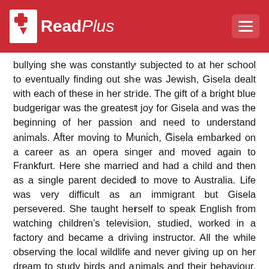ReadPlus
bullying she was constantly subjected to at her school to eventually finding out she was Jewish, Gisela dealt with each of these in her stride. The gift of a bright blue budgerigar was the greatest joy for Gisela and was the beginning of her passion and need to understand animals. After moving to Munich, Gisela embarked on a career as an opera singer and moved again to Frankfurt. Here she married and had a child and then as a single parent decided to move to Australia. Life was very difficult as an immigrant but Gisela persevered. She taught herself to speak English from watching children's television, studied, worked in a factory and became a driving instructor. All the while observing the local wildlife and never giving up on her dream to study birds and animals and their behaviour. Gisela won a number of scholarships to University and completed a number of degrees in a variety of fields. The scientific research completed by Gisela focused on the